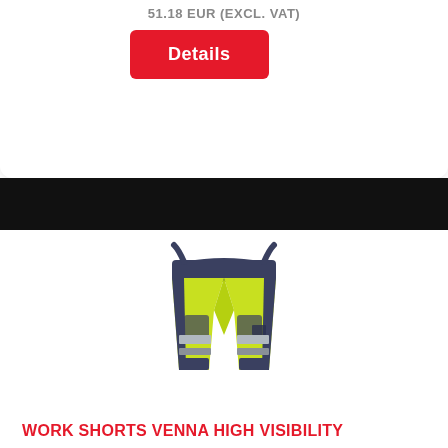51.18 EUR (EXCL. VAT)
Details
[Figure (photo): High visibility work shorts (Venna) in yellow-green and dark navy, with reflective grey stripes at the lower legs, multiple pockets, viewed from a front-side angle.]
WORK SHORTS VENNA HIGH VISIBILITY
47.17 EUR (INCL. VAT)
39.99 EUR (EXCL. VAT)